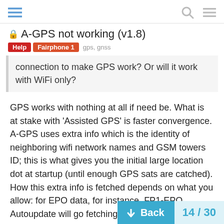A-GPS not working (v1.8) — Help, Fairphone 1, gps, gnss
connection to make GPS work? Or will it work with WiFi only?
GPS works with nothing at all if need be. What is at stake with 'Assisted GPS' is faster convergence.
A-GPS uses extra info which is the identity of neighboring wifi network names and GSM towers ID; this is what gives you the initial large location dot at startup (until enough GPS sats are catched).
How this extra info is fetched depends on what you allow: for EPO data, for instance, FP1-EPO Autoupdate will go fetching it only when on wifi, in order not to overspend. You also can cancel this and manually update every now and then, which basically should be as efficient.
But even without any data connection, converge. Only, verrry slowly. Honestly, n
14 / 30